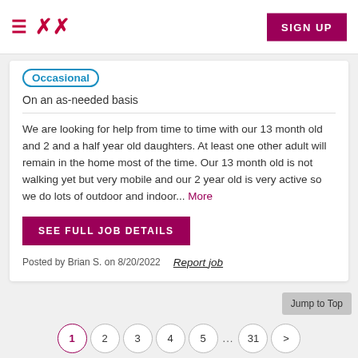SIGN UP
Occasional
On an as-needed basis
We are looking for help from time to time with our 13 month old and 2 and a half year old daughters. At least one other adult will remain in the home most of the time. Our 13 month old is not walking yet but very mobile and our 2 year old is very active so we do lots of outdoor and indoor... More
SEE FULL JOB DETAILS
Posted by Brian S. on 8/20/2022   Report job
Jump to Top
1  2  3  4  5  ...  31  >